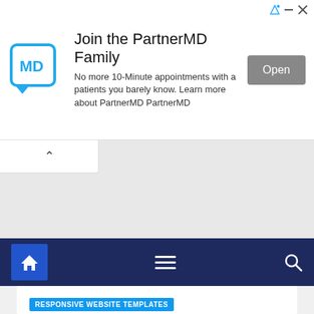[Figure (screenshot): PartnerMD advertisement banner with MD logo in speech bubble, headline 'Join the PartnerMD Family', body text, and Open button]
[Figure (screenshot): Website navigation bar with home icon, hamburger menu, and search icon on dark navy background]
RESPONSIVE WEBSITE TEMPLATES
40 Best HTML5